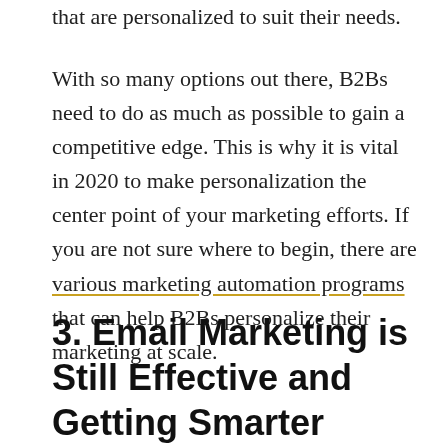that are personalized to suit their needs.
With so many options out there, B2Bs need to do as much as possible to gain a competitive edge. This is why it is vital in 2020 to make personalization the center point of your marketing efforts. If you are not sure where to begin, there are various marketing automation programs that can help B2Bs personalize their marketing at scale.
3. Email Marketing is Still Effective and Getting Smarter